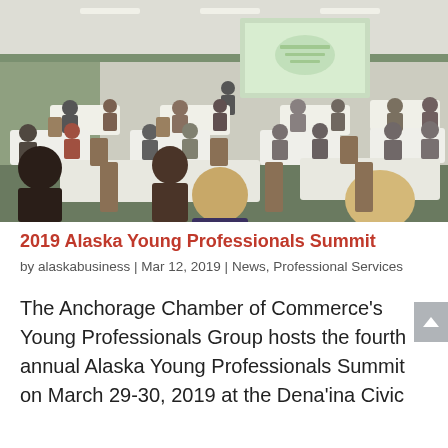[Figure (photo): Conference room with audience seated at round tables with white tablecloths, facing a presenter at the front with a projection screen displaying a presentation. Room has green accent walls, recessed lighting, and brown chairs.]
2019 Alaska Young Professionals Summit
by alaskabusiness | Mar 12, 2019 | News, Professional Services
The Anchorage Chamber of Commerce's Young Professionals Group hosts the fourth annual Alaska Young Professionals Summit on March 29-30, 2019 at the Dena'ina Civic & Convention Center.